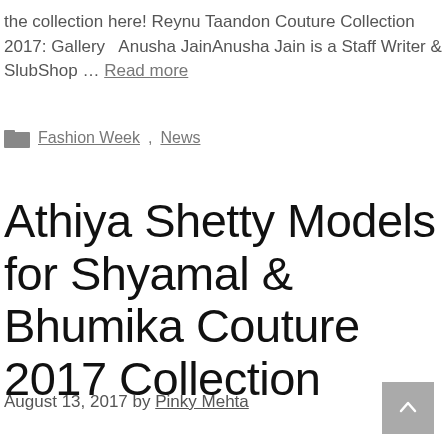the collection here! Reynu Taandon Couture Collection 2017: Gallery   Anusha JainAnusha Jain is a Staff Writer & SlubShop … Read more
Fashion Week, News
Athiya Shetty Models for Shyamal & Bhumika Couture 2017 Collection
August 13, 2017 by Pinky Mehta